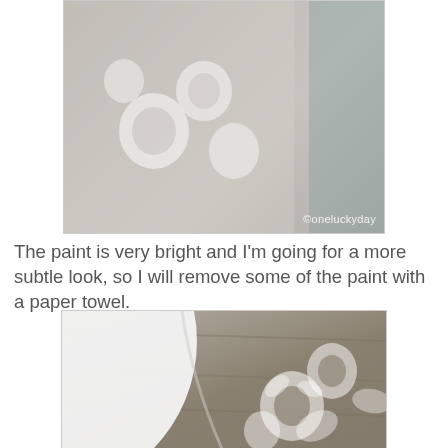[Figure (photo): Close-up photo of a lace stencil pattern applied with white paint on a wooden frame surface. Watermark reads ©oneluckyday.]
The paint is very bright and I'm going for a more subtle look, so I will remove some of the paint with a paper towel.
[Figure (photo): Close-up photo of a wooden frame with a circular opening showing a white plate inside, and a subtle lace stencil pattern with white paint dabbed on the gray-brown wooden surface.]